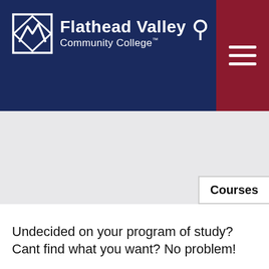[Figure (logo): Flathead Valley Community College logo with mountain/diamond emblem in white on navy background, with search icon and hamburger menu button in dark red]
Courses
Undecided on your program of study? Cant find what you want? No problem!